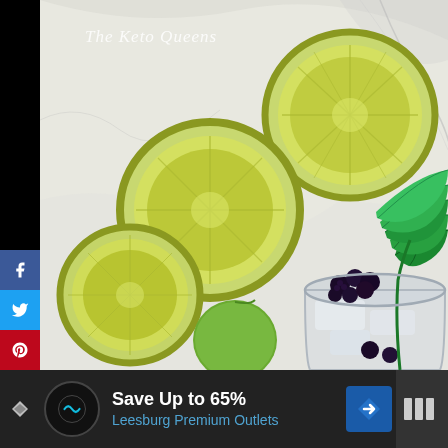[Figure (photo): Top-down view of sliced limes and a glass with blackberries, ice, and fresh mint leaves, watermarked with 'The Keto Queens' logo, on a marble surface]
Save Up to 65%
Leesburg Premium Outlets